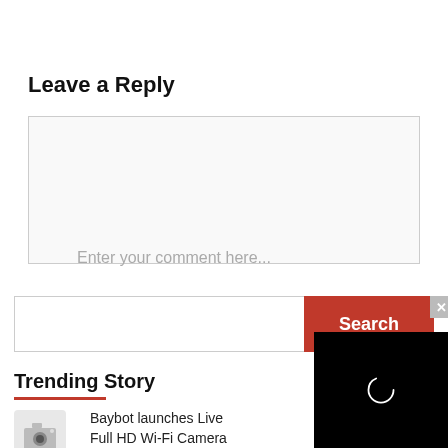Leave a Reply
Enter your comment here...
Search ...
Search
Trending Story
Baybot launches Live Full HD Wi-Fi Camera
[Figure (photo): Black overlay panel with loading circle icon, and a small X close button in the upper right corner]